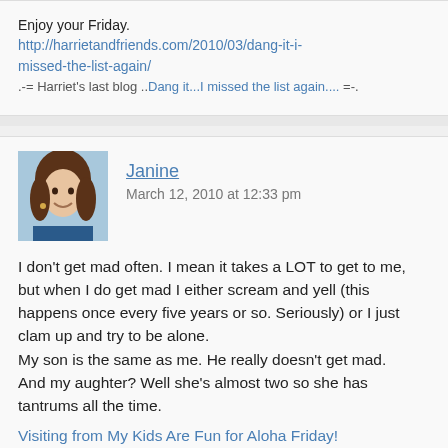Enjoy your Friday.
http://harrietandfriends.com/2010/03/dang-it-i-missed-the-list-again/
.-= Harriet's last blog ..Dang it...I missed the list again..... =-.
[Figure (photo): Profile photo of Janine, a woman with brown hair smiling]
Janine
March 12, 2010 at 12:33 pm
I don't get mad often. I mean it takes a LOT to get to me, but when I do get mad I either scream and yell (this happens once every five years or so. Seriously) or I just clam up and try to be alone.
My son is the same as me. He really doesn't get mad.
And my aughter? Well she's almost two so she has tantrums all the time.
Visiting from My Kids Are Fun for Aloha Friday!
Janine's last blog ..Aloha Friday..